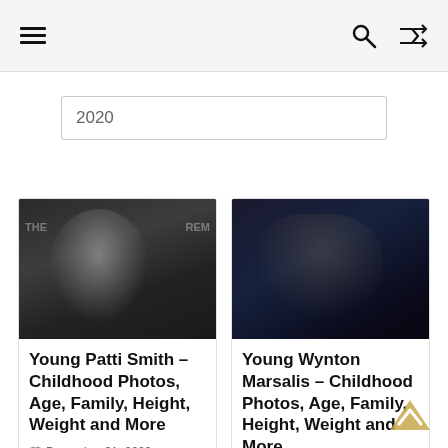≡   🔍   ⇄
2020
[Figure (photo): Photo of Patti Smith, a woman with long silver-white hair, smiling, at an event with dark background and partial text 'THE' and 'REM' visible]
Young Patti Smith – Childhood Photos, Age, Family, Height, Weight and More
December 21, 2020
[Figure (photo): Photo of Wynton Marsalis, a man wearing glasses, playing a golden trumpet, against a dark background]
Young Wynton Marsalis – Childhood Photos, Age, Family, Height, Weight and More
March 26, 2021